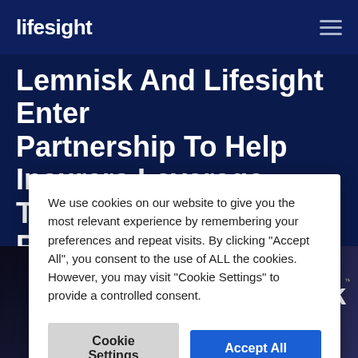lifesight
Lemnisk And Lifesight Enter Partnership To Help Insurers Leverage Their First-Party Data
We use cookies on our website to give you the most relevant experience by remembering your preferences and repeat visits. By clicking “Accept All”, you consent to the use of ALL the cookies. However, you may visit “Cookie Settings” to provide a controlled consent.
[Figure (logo): Lemnisk logo with infinity symbol in orange and brand name in white text on dark background]